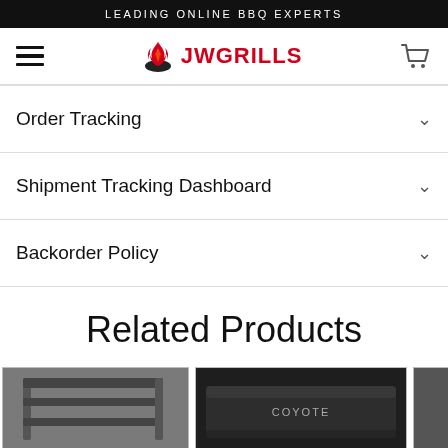LEADING ONLINE BBQ EXPERTS
[Figure (logo): JW Grills logo with hamburger menu and cart icon navigation bar]
Order Tracking
Shipment Tracking Dashboard
Backorder Policy
Related Products
[Figure (photo): Two product thumbnail images: a grill accessory/shelf on the left and a black Coyote grill cover in the center, with a third partial image on the right]